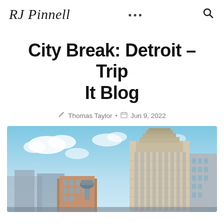RJ Pinnell
City Break: Detroit – Trip It Blog
Thomas Taylor • Jun 9, 2022
[Figure (photo): Skyline photo of Detroit showing a tall art-deco style building with classical architectural details against a blue sky with clouds, and other city buildings in the foreground.]